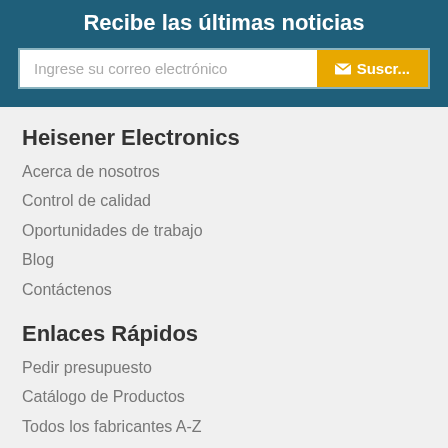Recibe las últimas noticias
Ingrese su correo electrónico
✉ Suscr...
Heisener Electronics
Acerca de nosotros
Control de calidad
Oportunidades de trabajo
Blog
Contáctenos
Enlaces Rápidos
Pedir presupuesto
Catálogo de Productos
Todos los fabricantes A-Z
Piezas Populares